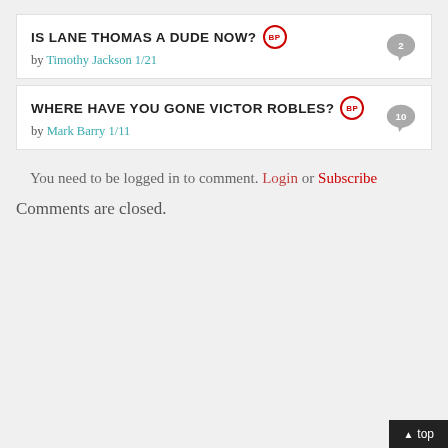IS LANE THOMAS A DUDE NOW?
by Timothy Jackson 1/21
WHERE HAVE YOU GONE VICTOR ROBLES?
by Mark Barry 1/11
You need to be logged in to comment. Login or Subscribe
Comments are closed.